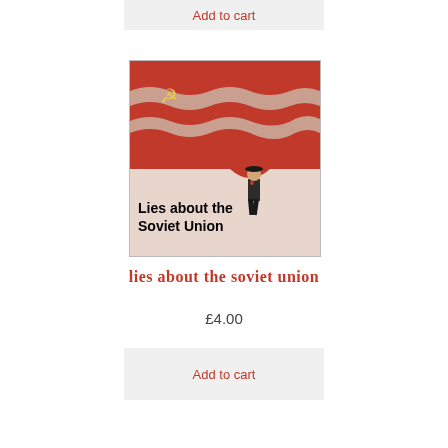Add to cart
[Figure (illustration): Book cover for 'Lies about the Soviet Union' showing a large red Soviet flag with hammer and sickle, and a figure of a man in a dark suit walking in front of it. Bold black text at the bottom reads 'Lies about the Soviet Union'.]
lies about the soviet union
£4.00
Add to cart